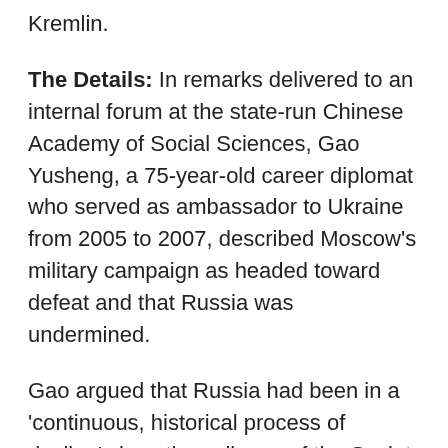Kremlin.
The Details: In remarks delivered to an internal forum at the state-run Chinese Academy of Social Sciences, Gao Yusheng, a 75-year-old career diplomat who served as ambassador to Ukraine from 2005 to 2007, described Moscow's military campaign as headed toward defeat and that Russia was undermined.
Gao argued that Russia had been in a 'continuous, historical process of decline' since the collapse of the Soviet Union. 'The so-called revitalization of Russia under [Russian President Vladimir]